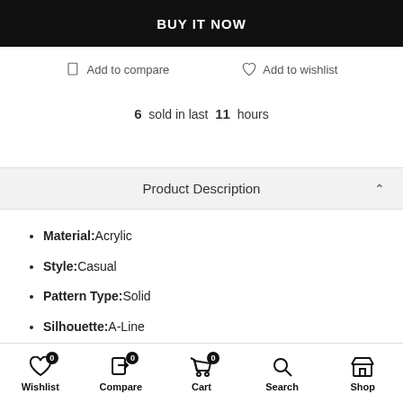BUY IT NOW
Add to compare
Add to wishlist
6 sold in last 11 hours
Product Description
Material: Acrylic
Style: Casual
Pattern Type: Solid
Silhouette: A-Line
Wishlist 0 | Compare 0 | Cart 0 | Search | Shop